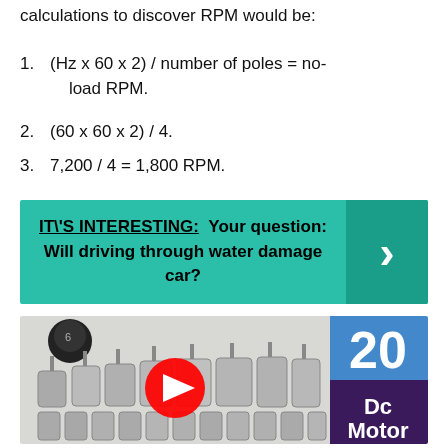calculations to discover RPM would be:
(Hz x 60 x 2) / number of poles = no-load RPM.
(60 x 60 x 2) / 4.
7,200 / 4 = 1,800 RPM.
[Figure (infographic): Teal banner reading IT\'S INTERESTING: Your question: Will driving through water damage car? with a right-arrow chevron on the right side.]
[Figure (photo): YouTube video thumbnail showing a collection of 20 DC motors of various sizes arranged on a white surface, with a red YouTube play button overlay and a blue/purple panel on the right showing the number 20 and text 'Dc Motor'.]